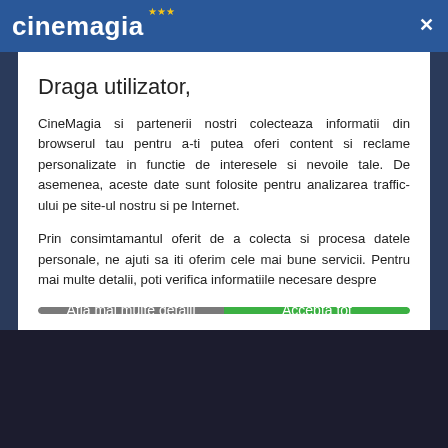[Figure (screenshot): CineMagia website header bar with logo and close button]
Draga utilizator,
CineMagia si partenerii nostri colecteaza informatii din browserul tau pentru a-ti putea oferi content si reclame personalizate in functie de interesele si nevoile tale. De asemenea, aceste date sunt folosite pentru analizarea traffic-ului pe site-ul nostru si pe Internet.
Prin consimtamantul oferit de a colecta si procesa datele personale, ne ajuti sa iti oferim cele mai bune servicii. Pentru mai multe detalii, poti verifica informatiile necesare despre
Afla mai multe detalii
Accepta tot